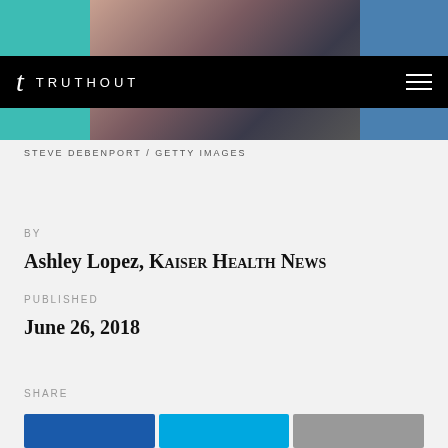[Figure (photo): Medical scene showing a healthcare worker in teal scrubs with a patient, Getty Images stock photo]
t TRUTHOUT
STEVE DEBENPORT / GETTY IMAGES
BY
Ashley Lopez, Kaiser Health News
PUBLISHED
June 26, 2018
SHARE